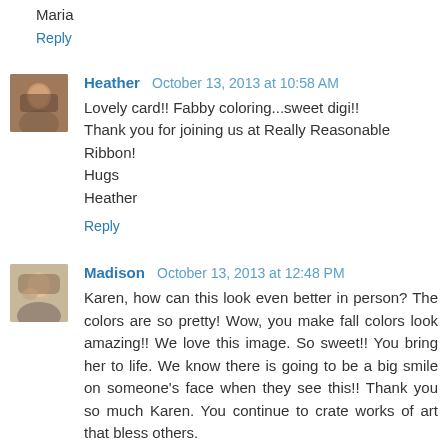Maria
Reply
Heather  October 13, 2013 at 10:58 AM
Lovely card!! Fabby coloring...sweet digi!!
Thank you for joining us at Really Reasonable Ribbon!
Hugs
Heather
Reply
Madison  October 13, 2013 at 12:48 PM
Karen, how can this look even better in person? The colors are so pretty! Wow, you make fall colors look amazing!! We love this image. So sweet!! You bring her to life. We know there is going to be a big smile on someone's face when they see this!! Thank you so much Karen. You continue to crate works of art that bless others.
We love that you are a part of this group!
Many blessings to you.